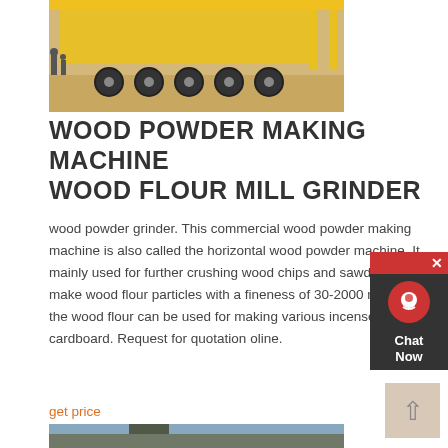[Figure (photo): Photo of industrial equipment/truck with yellow frame on dirt ground, people visible in background]
WOOD POWDER MAKING MACHINE WOOD FLOUR MILL GRINDER
wood powder grinder. This commercial wood powder making machine is also called the horizontal wood powder machine. It mainly used for further crushing wood chips and sawdust to make wood flour particles with a fineness of 30-2000 mesh. All the wood flour can be used for making various incense and cardboard. Request for quotation oline.
get price
[Figure (photo): Photo of heavy industrial mining/crushing machinery on a hillside]
[Figure (other): Chat Now widget with customer service icon]